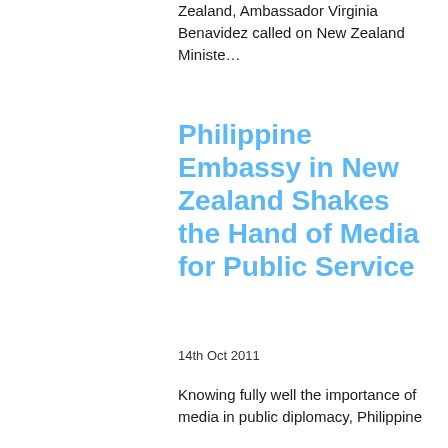Zealand, Ambassador Virginia Benavidez called on New Zealand Ministe…
Philippine Embassy in New Zealand Shakes the Hand of Media for Public Service
14th Oct 2011
Knowing fully well the importance of media in public diplomacy, Philippine